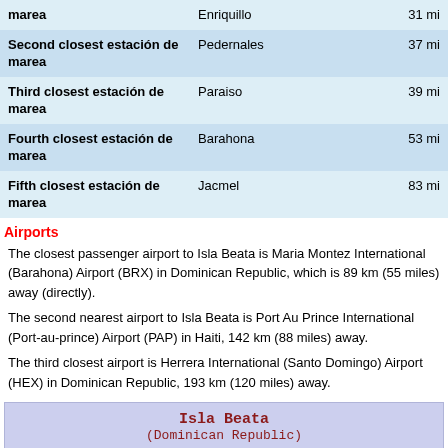| Label | Name | Distance |
| --- | --- | --- |
| marea | Enriquillo | 31 mi |
| Second closest estación de marea | Pedernales | 37 mi |
| Third closest estación de marea | Paraiso | 39 mi |
| Fourth closest estación de marea | Barahona | 53 mi |
| Fifth closest estación de marea | Jacmel | 83 mi |
Airports
The closest passenger airport to Isla Beata is Maria Montez International (Barahona) Airport (BRX) in Dominican Republic, which is 89 km (55 miles) away (directly).
The second nearest airport to Isla Beata is Port Au Prince International (Port-au-prince) Airport (PAP) in Haiti, 142 km (88 miles) away.
The third closest airport is Herrera International (Santo Domingo) Airport (HEX) in Dominican Republic, 193 km (120 miles) away.
Isla Beata
(Dominican Republic)